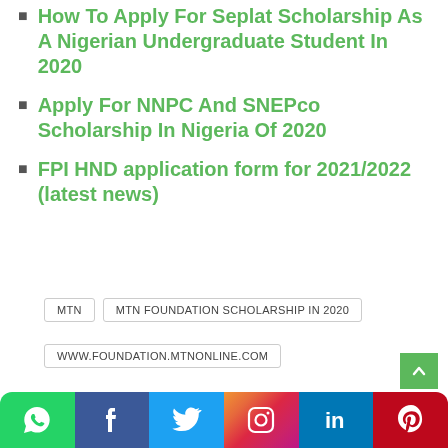How To Apply For Seplat Scholarship As A Nigerian Undergraduate Student In 2020
Apply For NNPC And SNEPco Scholarship In Nigeria Of 2020
FPI HND application form for 2021/2022 (latest news)
MTN | MTN FOUNDATION SCHOLARSHIP IN 2020 | WWW.FOUNDATION.MTNONLINE.COM
1 comment
previous post